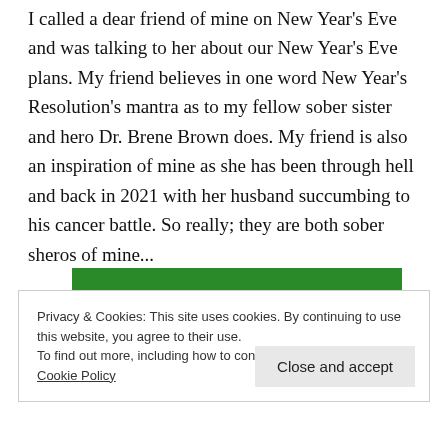I called a dear friend of mine on New Year's Eve and was talking to her about our New Year's Eve plans. My friend believes in one word New Year's Resolution's mantra as to my fellow sober sister and hero Dr. Brene Brown does. My friend is also an inspiration of mine as she has been through hell and back in 2021 with her husband succumbing to his cancer battle. So really; they are both sober sheros of mine...
[Figure (other): Partial green banner/image visible behind the cookie consent overlay]
Privacy & Cookies: This site uses cookies. By continuing to use this website, you agree to their use.
To find out more, including how to control cookies, see here:
Cookie Policy